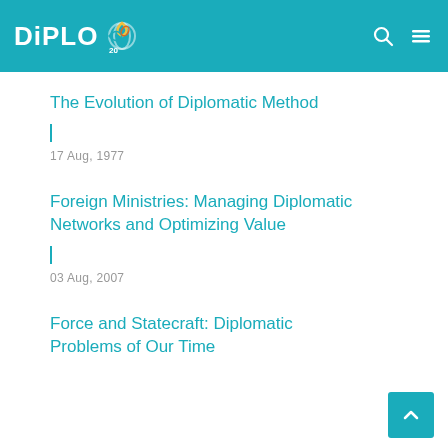DiPLO
The Evolution of Diplomatic Method
17 Aug, 1977
Foreign Ministries: Managing Diplomatic Networks and Optimizing Value
03 Aug, 2007
Force and Statecraft: Diplomatic Problems of Our Time